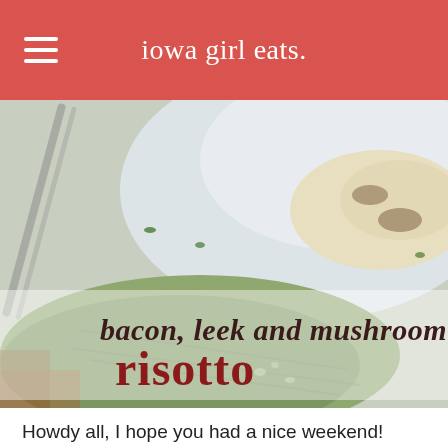iowa girl eats.
[Figure (photo): Close-up food photo of a plate of risotto with text overlay reading 'bacon, leek and mushroom risotto'. The background shows a white plate with creamy risotto and a green cloth/napkin visible.]
Howdy all, I hope you had a nice weekend!
Ben and I spent much of the past couple of days sequestered indoors – wah-wah. Lincoln came down with a nasty cold last last week that Ben and I both woke up with on